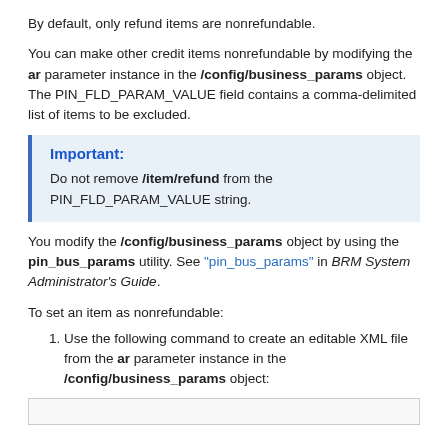By default, only refund items are nonrefundable.
You can make other credit items nonrefundable by modifying the ar parameter instance in the /config/business_params object. The PIN_FLD_PARAM_VALUE field contains a comma-delimited list of items to be excluded.
Important: Do not remove /item/refund from the PIN_FLD_PARAM_VALUE string.
You modify the /config/business_params object by using the pin_bus_params utility. See "pin_bus_params" in BRM System Administrator's Guide.
To set an item as nonrefundable:
1. Use the following command to create an editable XML file from the ar parameter instance in the /config/business_params object: